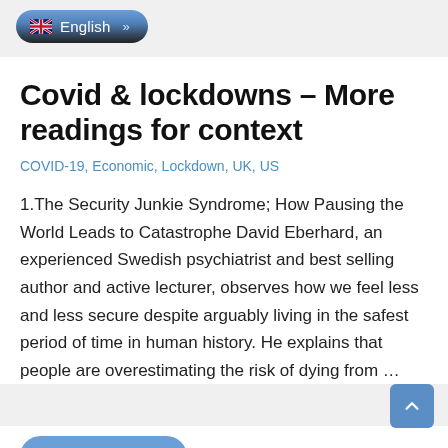[Figure (screenshot): Language selector button showing UK flag and 'English' text with arrow, dark/blue pill-shaped button]
Covid & lockdowns – More readings for context
COVID-19, Economic, Lockdown, UK, US
1.The Security Junkie Syndrome; How Pausing the World Leads to Catastrophe David Eberhard, an experienced Swedish psychiatrist and best selling author and active lecturer, observes how we feel less and less secure despite arguably living in the safest period of time in human history. He explains that people are overestimating the risk of dying from …
READ MORE »